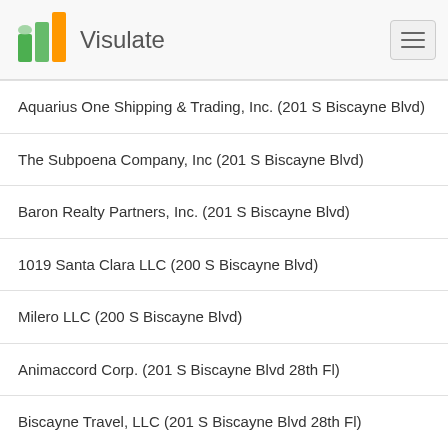Visulate
Aquarius One Shipping & Trading, Inc. (201 S Biscayne Blvd)
The Subpoena Company, Inc (201 S Biscayne Blvd)
Baron Realty Partners, Inc. (201 S Biscayne Blvd)
1019 Santa Clara LLC (200 S Biscayne Blvd)
Milero LLC (200 S Biscayne Blvd)
Animaccord Corp. (201 S Biscayne Blvd 28th Fl)
Biscayne Travel, LLC (201 S Biscayne Blvd 28th Fl)
F.A.M. & Company, LLC (201 S Biscayne Blvd 28th Fl)
Rac Grove Bay Investors, LLC (200 S Biscayne Blvd)
Acker, Ackert, Associates, Inc. (200 S Bis...)